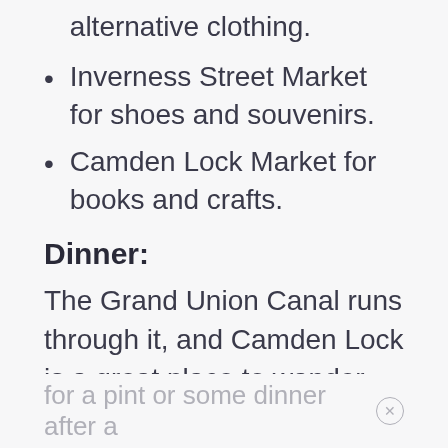alternative clothing.
Inverness Street Market for shoes and souvenirs.
Camden Lock Market for books and crafts.
Dinner:
The Grand Union Canal runs through it, and Camden Lock is a great place to wander and stop
for a pint or some dinner after a